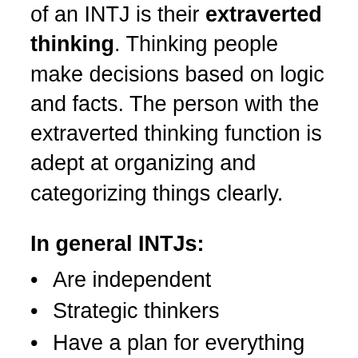of an INTJ is their extraverted thinking. Thinking people make decisions based on logic and facts. The person with the extraverted thinking function is adept at organizing and categorizing things clearly.
In general INTJs:
Are independent
Strategic thinkers
Have a plan for everything
Love solving complex puzzles, not just for the sake of puzzling, but to